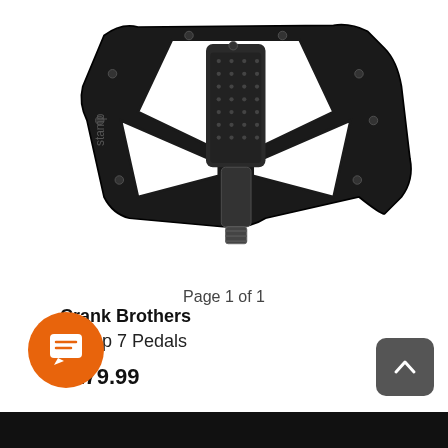[Figure (photo): Black Crank Brothers Stamp 7 mountain bike flat pedal, viewed from above at a slight angle, showing textured platform with pins, cutout design, and spindle/axle below.]
Crank Brothers
Stamp 7 Pedals
$179.99
Page 1 of 1